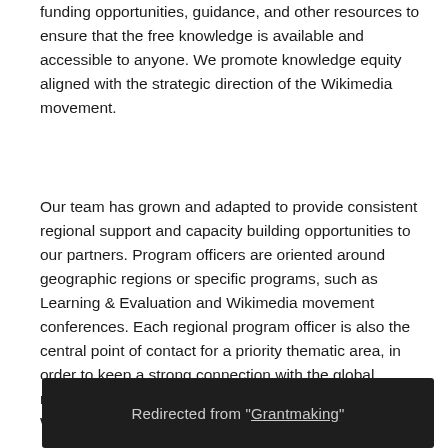funding opportunities, guidance, and other resources to ensure that the free knowledge is available and accessible to anyone. We promote knowledge equity aligned with the strategic direction of the Wikimedia movement.
Our team has grown and adapted to provide consistent regional support and capacity building opportunities to our partners. Program officers are oriented around geographic regions or specific programs, such as Learning & Evaluation and Wikimedia movement conferences. Each regional program officer is also the central point of contact for a priority thematic area, in order to keep a strong connection with the global movement and to f... W...
Redirected from "Grantmaking"